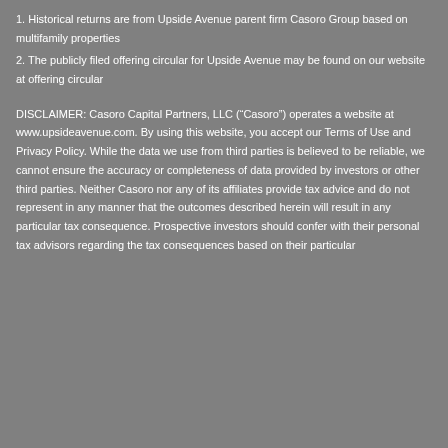1. Historical returns are from Upside Avenue parent firm Casoro Group based on multifamily properties
2. The publicly filed offering circular for Upside Avenue may be found on our website at offering circular
DISCLAIMER: Casoro Capital Partners, LLC (“Casoro”) operates a website at www.upsideavenue.com. By using this website, you accept our Terms of Use and Privacy Policy. While the data we use from third parties is believed to be reliable, we cannot ensure the accuracy or completeness of data provided by investors or other third parties. Neither Casoro nor any of its affiliates provide tax advice and do not represent in any manner that the outcomes described herein will result in any particular tax consequence. Prospective investors should confer with their personal tax advisors regarding the tax consequences based on their particular